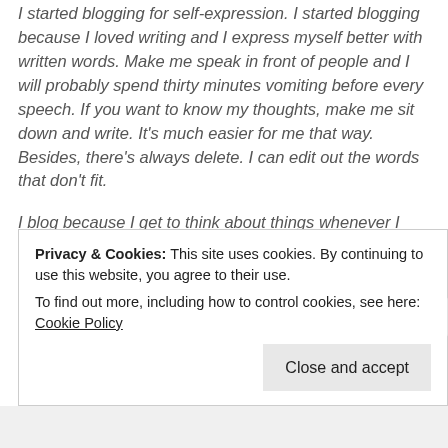I started blogging for self-expression. I started blogging because I loved writing and I express myself better with written words. Make me speak in front of people and I will probably spend thirty minutes vomiting before every speech. If you want to know my thoughts, make me sit down and write. It's much easier for me that way. Besides, there's always delete. I can edit out the words that don't fit.
I blog because I get to think about things whenever I write about them. I get to ask myself questions, and most of the time I find the answers, as well. Of course I would love to be able to share my ideas and thoughts and misadventures with someone. I would love to inspire people. Putting a smile on a reader's face is a nice outcome. But then given that I don't have much followers yet, well, I blog more
Privacy & Cookies: This site uses cookies. By continuing to use this website, you agree to their use.
To find out more, including how to control cookies, see here: Cookie Policy
Close and accept